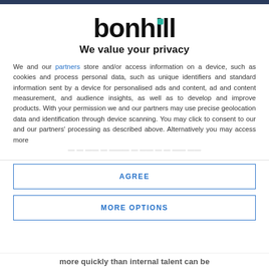[Figure (logo): Bonhill logo with teal accent dot on letter 'i']
We value your privacy
We and our partners store and/or access information on a device, such as cookies and process personal data, such as unique identifiers and standard information sent by a device for personalised ads and content, ad and content measurement, and audience insights, as well as to develop and improve products. With your permission we and our partners may use precise geolocation data and identification through device scanning. You may click to consent to our and our partners' processing as described above. Alternatively you may access more detailed information and…
AGREE
MORE OPTIONS
more quickly than internal talent can be